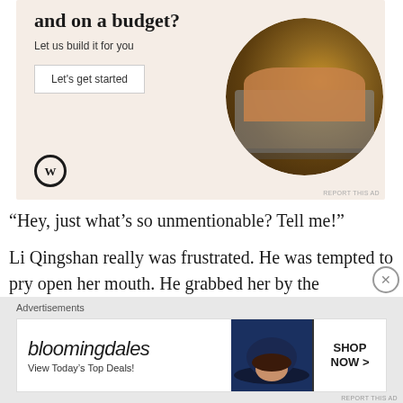[Figure (infographic): WordPress advertisement banner with beige/cream background. Text: 'Need a website quickly and on a budget? Let us build it for you' with a 'Let's get started' button, WordPress logo at bottom left, and circular photo of hands typing on laptop at right.]
REPORT THIS AD
“Hey, just what’s so unmentionable? Tell me!”
Li Qingshan really was frustrated. He was tempted to pry open her mouth. He grabbed her by the shoulders, about to spit out a few threats and force her to confess, but when
Advertisements
[Figure (infographic): Bloomingdale's advertisement banner. Shows 'bloomingdales' brand name in italic font, 'View Today’s Top Deals!' tagline, image of woman with large hat, and 'SHOP NOW >' button on right.]
REPORT THIS AD